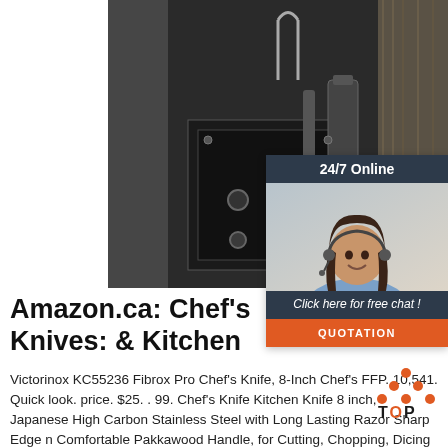[Figure (photo): Industrial/mechanical equipment photo showing dark metallic machinery with tubes, valves and metal components against a gray background]
[Figure (infographic): 24/7 Online chat widget with a woman wearing a headset, dark navy header, 'Click here for free chat!' text, and orange QUOTATION button]
Amazon.ca: Chef's Knives: & Kitchen
Victorinox KC55236 Fibrox Pro Chef's Knife, 8-Inch Chef's FFP. 10,541. Quick look. price. $25. . 99. Chef's Knife Kitchen Knife 8 inch, Japanese High Carbon Stainless Steel with Long Lasting Razor Sharp Edge n Comfortable Pakkawood Handle, for Cutting, Chopping, Dicing and Slicing. 626.
[Figure (logo): TOP logo with orange dots arranged in a triangular mountain shape above the word TOP]